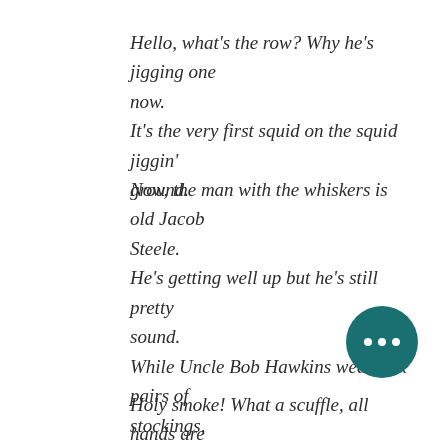Hello, what's the row? Why he's jigging one now.
It's the very first squid on the squid jiggin' ground.
Now, the man with the whiskers is old Jacob Steele.
He's getting well up but he's still pretty sound.
While Uncle Bob Hawkins wears six pairs of stockings,
Whenever he's out on the squid jiggin' ground.
Holy smoke! What a scuffle, all hands are excited.